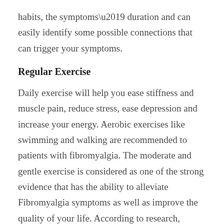habits, the symptoms’ duration and can easily identify some possible connections that can trigger your symptoms.
Regular Exercise
Daily exercise will help you ease stiffness and muscle pain, reduce stress, ease depression and increase your energy. Aerobic exercises like swimming and walking are recommended to patients with fibromyalgia. The moderate and gentle exercise is considered as one of the strong evidence that has the ability to alleviate Fibromyalgia symptoms as well as improve the quality of your life. According to research, graded